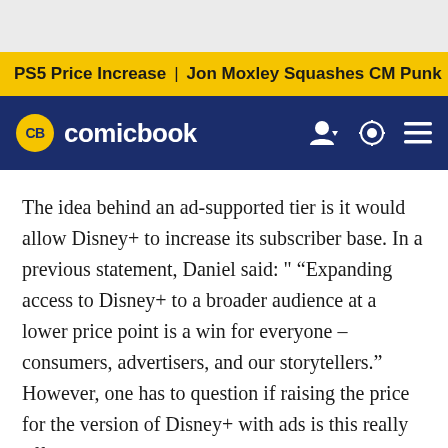PS5 Price Increase | Jon Moxley Squashes CM Punk | New Ge
CB comicbook
The idea behind an ad-supported tier is it would allow Disney+ to increase its subscriber base. In a previous statement, Daniel said: " "Expanding access to Disney+ to a broader audience at a lower price point is a win for everyone – consumers, advertisers, and our storytellers." However, one has to question if raising the price for the version of Disney+ with ads is this really offering a subscription "at a lower price point"?
The overall reaction on social media appears mixed. While some Disney fans don't mind the price increase, others are